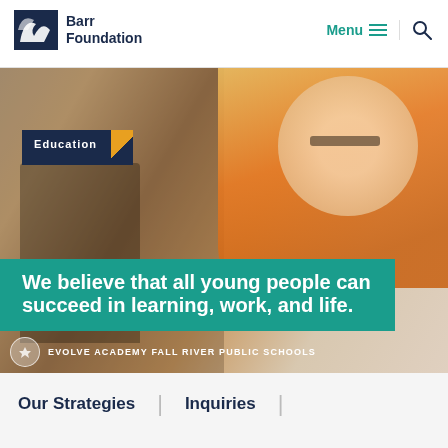Barr Foundation
[Figure (photo): A smiling teenage girl wearing glasses and an orange hoodie working on a hands-on project (building structure) on the floor of a school classroom.]
Education
We believe that all young people can succeed in learning, work, and life.
EVOLVE ACADEMY FALL RIVER PUBLIC SCHOOLS
Our Strategies | Inquiries |